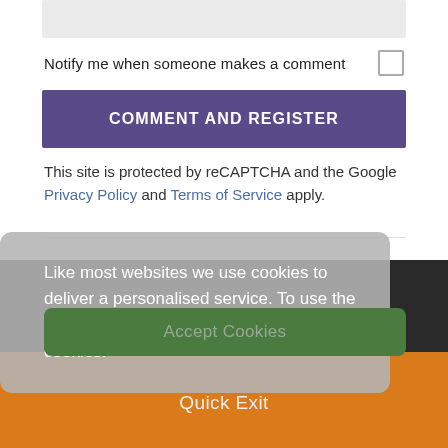Notify me when someone makes a comment
COMMENT AND REGISTER
This site is protected by reCAPTCHA and the Google Privacy Policy and Terms of Service apply.
Like most websites we use cookies to deliver a personalised service. To use the website as intended please accept cookies.
Accept Cookies
Quick Exit